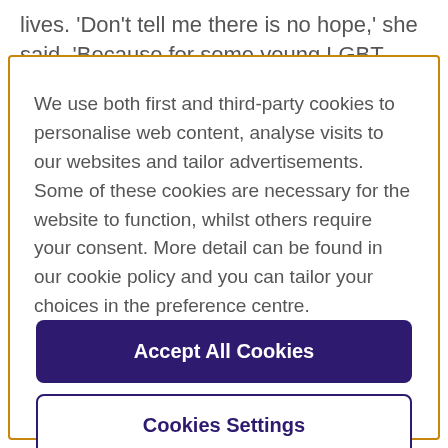lives. 'Don't tell me there is no hope,' she said. 'Because for some young LGBT people hope is all there is.' She
We use both first and third-party cookies to personalise web content, analyse visits to our websites and tailor advertisements. Some of these cookies are necessary for the website to function, whilst others require your consent. More detail can be found in our cookie policy and you can tailor your choices in the preference centre.
Accept All Cookies
Cookies Settings